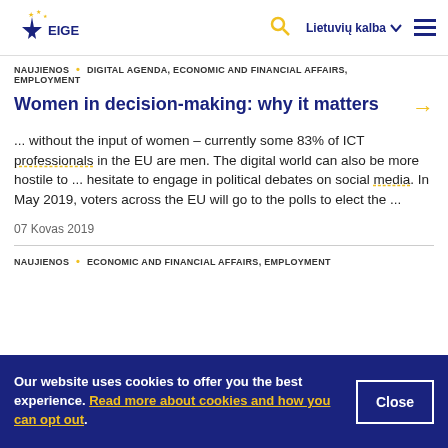EIGE — Lietuvių kalba navigation header
NAUJIENOS • DIGITAL AGENDA, ECONOMIC AND FINANCIAL AFFAIRS, EMPLOYMENT
Women in decision-making: why it matters →
... without the input of women – currently some 83% of ICT professionals in the EU are men. The digital world can also be more hostile to ... hesitate to engage in political debates on social media. In May 2019, voters across the EU will go to the polls to elect the ...
07 Kovas 2019
NAUJIENOS • ECONOMIC AND FINANCIAL AFFAIRS, EMPLOYMENT
Our website uses cookies to offer you the best experience. Read more about cookies and how you can opt out.